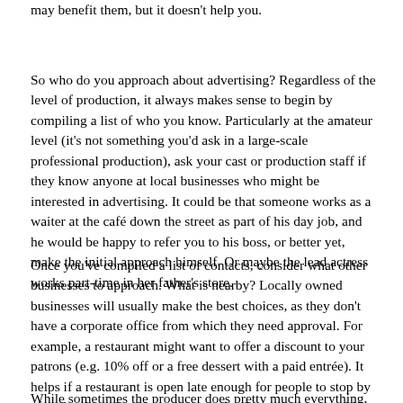may benefit them, but it doesn't help you.
So who do you approach about advertising? Regardless of the level of production, it always makes sense to begin by compiling a list of who you know. Particularly at the amateur level (it's not something you'd ask in a large-scale professional production), ask your cast or production staff if they know anyone at local businesses who might be interested in advertising. It could be that someone works as a waiter at the café down the street as part of his day job, and he would be happy to refer you to his boss, or better yet, make the initial approach himself. Or maybe the lead actress works part-time in her father's store.
Once you've compiled a list of contacts, consider what other businesses to approach. What is nearby? Locally owned businesses will usually make the best choices, as they don't have a corporate office from which they need approval. For example, a restaurant might want to offer a discount to your patrons (e.g. 10% off or a free dessert with a paid entrée). It helps if a restaurant is open late enough for people to stop by after the show, but it's not a necessity. In particular, consider targeting newer businesses that are looking for ways to publicize their name out to the community. Be prepared, when soliciting advertising, to be able to tell them roughly how many people you expect to attend the production and other salient facts about your show and theatre group.
While sometimes the producer does pretty much everything, it helps if you can